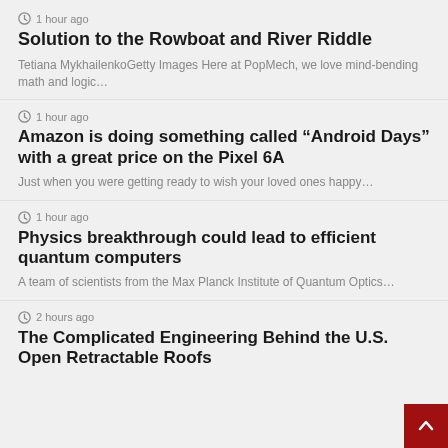1 hour ago
Solution to the Rowboat and River Riddle
Tetiana MykhailenkoGetty Images Here at PopMech, we love mind-bending math and logic…
1 hour ago
Amazon is doing something called “Android Days” with a great price on the Pixel 6A
Just when you were getting ready to wish your loved ones happy…
1 hour ago
Physics breakthrough could lead to efficient quantum computers
A team of scientists from the Max Planck Institute of Quantum Optics…
2 hours ago
The Complicated Engineering Behind the U.S. Open Retractable Roofs